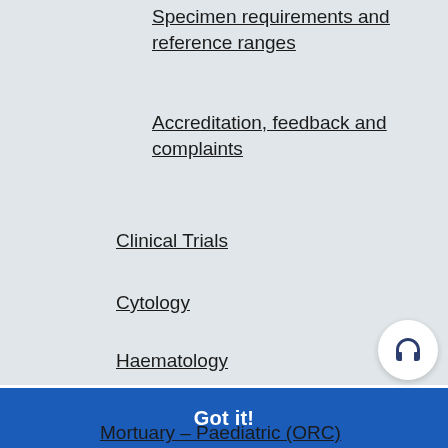Specimen requirements and reference ranges
Accreditation, feedback and complaints
Clinical Trials
Cytology
Haematology
Histopathology
This website uses cookies to ensure you get the best experience on our website.
Learn more
Got it!
Mortuary – Paediatric (ORC)